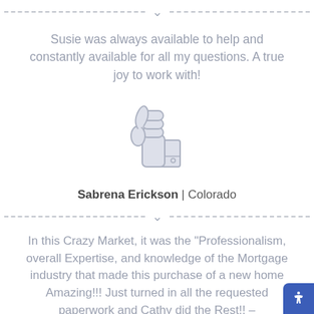[Figure (illustration): Dashed divider line with a downward chevron/arrow in the center]
Susie was always available to help and constantly available for all my questions. A true joy to work with!
[Figure (illustration): A light blue-grey thumbs up icon]
Sabrena Erickson | Colorado
[Figure (illustration): Dashed divider line with a downward chevron/arrow in the center]
In this Crazy Market, it was the "Professionalism, overall Expertise, and knowledge of the Mortgage industry that made this purchase of a new home Amazing!!! Just turned in all the requested paperwork and Cathy did the Rest!! –